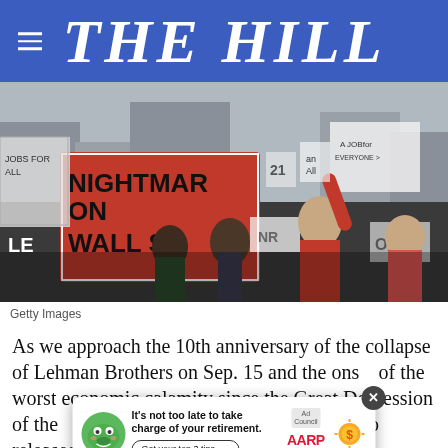THE HILL
[Figure (photo): Protest scene with people holding signs including one reading 'NIGHTMARE ON WALL ST.' in red, crowd of demonstrators with placards]
Getty Images
As we approach the 10th anniversary of the collapse of Lehman Brothers on Sep. 15 and the onset of the worst economic calamity since the Great Depression of the ... Francisco released a new study on the lasting and